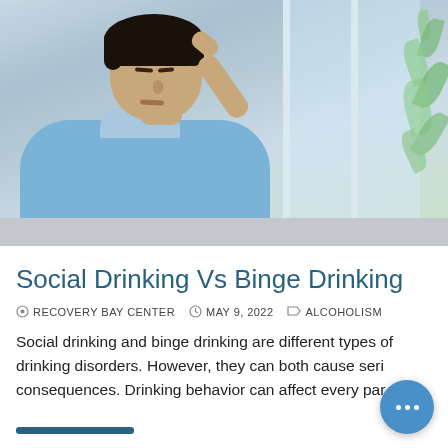[Figure (photo): Young man leaning head against window, looking distressed, wearing a light blue jacket, with green leaves visible through the window in the background]
Social Drinking Vs Binge Drinking
RECOVERY BAY CENTER   MAY 9, 2022   ALCOHOLISM
Social drinking and binge drinking are different types of drinking disorders. However, they can both cause serious consequences. Drinking behavior can affect every par